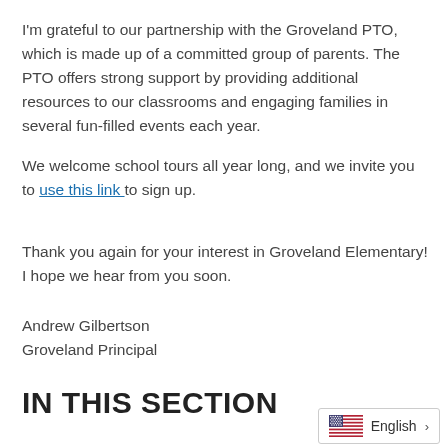I'm grateful to our partnership with the Groveland PTO, which is made up of a committed group of parents. The PTO offers strong support by providing additional resources to our classrooms and engaging families in several fun-filled events each year.
We welcome school tours all year long, and we invite you to use this link to sign up.
Thank you again for your interest in Groveland Elementary! I hope we hear from you soon.
Andrew Gilbertson
Groveland Principal
IN THIS SECTION